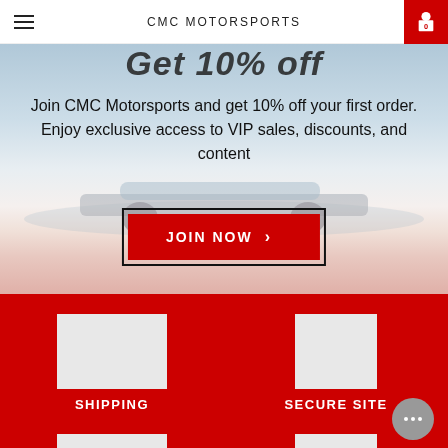CMC MOTORSPORTS
Get 10% off
Join CMC Motorsports and get 10% off your first order. Enjoy exclusive access to VIP sales, discounts, and content
JOIN NOW
SHIPPING
SECURE SITE
GIFT CARDS
CONTACT US